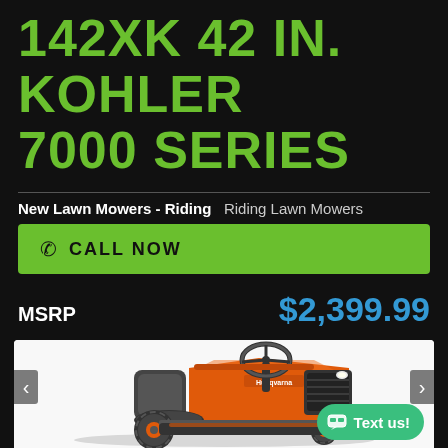142XK 42 IN. KOHLER 7000 SERIES
New Lawn Mowers - Riding   Riding Lawn Mowers
CALL NOW
MSRP   $2,399.99
[Figure (photo): Orange and black Husqvarna 142XK riding lawn mower shown from side/front angle, with large seat and steering wheel visible, on white background. A green 'Text us!' chat button overlay is visible in the bottom right. Left and right navigation arrows are visible on sides.]